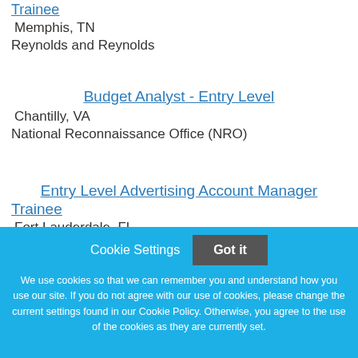Trainee
Memphis, TN
Reynolds and Reynolds
Budget Analyst - Entry Level
Chantilly, VA
National Reconnaissance Office (NRO)
Entry Level Advertising Account Manager Trainee
Fort Lauderdale, FL
Reynolds and Reynolds
Cookie Settings   Got it
We use cookies so that we can remember you and understand how you use our site. If you do not agree with our use of cookies, please change the current settings found in our Cookie Policy. Otherwise, you agree to the use of the cookies as they are currently set.